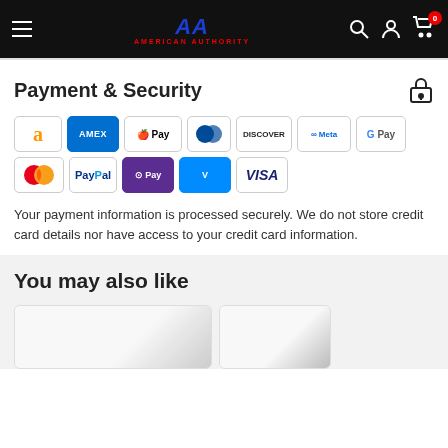American Authority – navigation header
Payment & Security
[Figure (infographic): Payment method badges: Amazon, Amex, Apple Pay, Diners Club, Discover, Meta Pay, Google Pay, Mastercard, PayPal, OPay, Venmo, Visa]
Your payment information is processed securely. We do not store credit card details nor have access to your credit card information.
You may also like
[Figure (photo): Product card thumbnails – partial view of two product images]